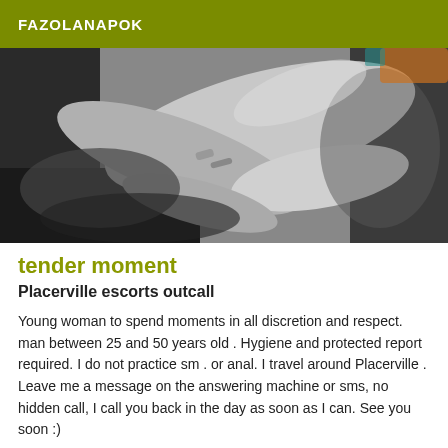FAZOLANAPOK
[Figure (photo): Black and white close-up photograph of hands touching or interacting, with a hint of color (orange/teal) in the upper right corner.]
tender moment
Placerville escorts outcall
Young woman to spend moments in all discretion and respect. man between 25 and 50 years old . Hygiene and protected report required. I do not practice sm . or anal. I travel around Placerville . Leave me a message on the answering machine or sms, no hidden call, I call you back in the day as soon as I can. See you soon :)